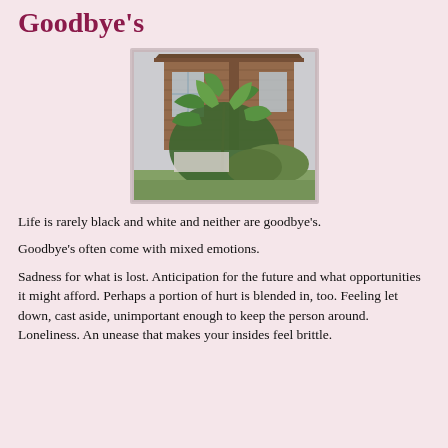Goodbye's
[Figure (photo): A photograph of large-leafed green plants growing in front of a brown wooden building, likely a house or cabin. The image is in muted tones with greenery and a manicured lawn visible.]
Life is rarely black and white and neither are goodbye's.
Goodbye's often come with mixed emotions.
Sadness for what is lost. Anticipation for the future and what opportunities it might afford. Perhaps a portion of hurt is blended in, too. Feeling let down, cast aside, unimportant enough to keep the person around. Loneliness. An unease that makes your insides feel brittle.